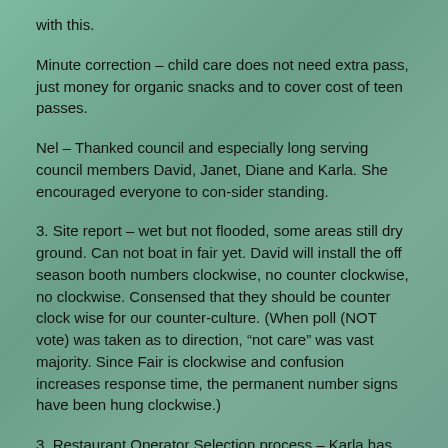with this.
Minute correction – child care does not need extra pass, just money for organic snacks and to cover cost of teen passes.
Nel – Thanked council and especially long serving council members David, Janet, Diane and Karla. She encouraged everyone to con-sider standing.
3. Site report – wet but not flooded, some areas still dry ground. Can not boat in fair yet. David will install the off season booth numbers clockwise, no counter clockwise, no clockwise. Consensed that they should be counter clock wise for our counter-culture. (When poll (NOT vote) was taken as to direction, "not care" was vast majority. Since Fair is clockwise and confusion increases response time, the permanent number signs have been hung clockwise.)
3. Restaurant Operator Selection process – Karla has forms for anyone interested in applying to run the village restaurant. The deadline to apply